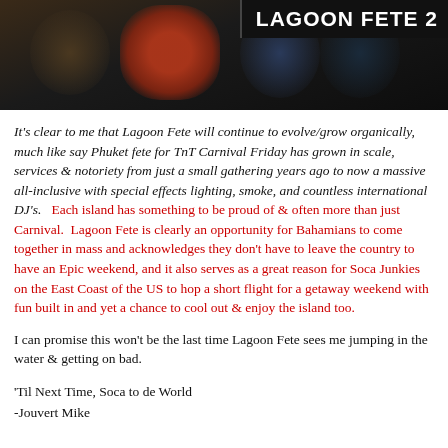[Figure (photo): Dark photo banner showing people at Lagoon Fete event, with 'LAGOON FETE 2' text overlay on the right side in white bold text on dark background]
It's clear to me that Lagoon Fete will continue to evolve/grow organically, much like say Phuket fete for TnT Carnival Friday has grown in scale, services & notoriety from just a small gathering years ago to now a massive all-inclusive with special effects lighting, smoke, and countless international DJ's.   Each island has something to be proud of & often more than just Carnival.  Lagoon Fete is clearly an opportunity for Bahamians to come together in mass and acknowledges they don't have to leave the country to have an Epic weekend, and it also serves as a great reason for Soca Junkies on the East Coast of the US to hop a short flight for a getaway weekend with fun built in and yet a chance to cool out & enjoy the island too.
I can promise this won't be the last time Lagoon Fete sees me jumping in the water & getting on bad.
'Til Next Time, Soca to de World
-Jouvert Mike